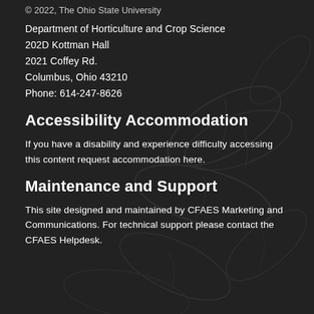© 2022, The Ohio State University
Department of Horticulture and Crop Science
202D Kottman Hall
2021 Coffey Rd.
Columbus, Ohio 43210
Phone: 614-247-8626
Accessibility Accommodation
If you have a disability and experience difficulty accessing this content request accommodation here.
Maintenance and Support
This site designed and maintained by CFAES Marketing and Communications. For technical support please contact the CFAES Helpdesk.